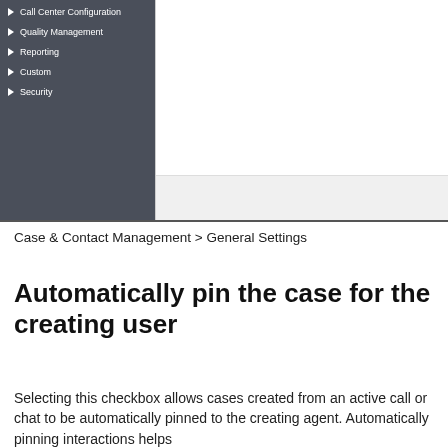[Figure (screenshot): Application UI screenshot showing a dark left sidebar with navigation items (Call Center Configuration, Quality Management, Reporting, Custom, Security) and a white main content area on the right with a light gray footer bar.]
Case & Contact Management > General Settings
Automatically pin the case for the creating user
Selecting this checkbox allows cases created from an active call or chat to be automatically pinned to the creating agent. Automatically pinning interactions helps